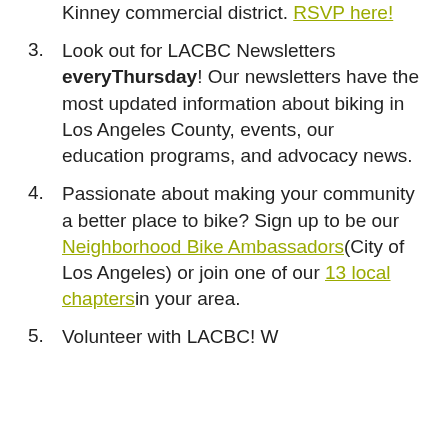Kinney commercial district. RSVP here!
3. Look out for LACBC Newsletters every Thursday! Our newsletters have the most updated information about biking in Los Angeles County, events, our education programs, and advocacy news.
4. Passionate about making your community a better place to bike? Sign up to be our Neighborhood Bike Ambassadors (City of Los Angeles) or join one of our 13 local chapters in your area.
5. Volunteer with LACBC! W...